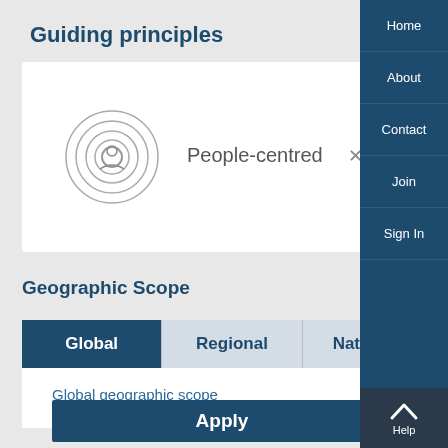Guiding principles
[Figure (illustration): Concentric circles icon representing people-centred principle]
People-centred  ×
Geographic Scope
Global | Regional | National
Global geographic scope
Apply
reset all